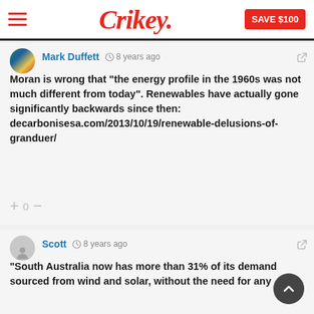Crikey. SAVE $100
Mark Duffett  8 years ago
Moran is wrong that “the energy profile in the 1960s was not much different from today”. Renewables have actually gone significantly backwards since then: decarbonisesa.com/2013/10/19/renewable-delusions-of-granduer/
+ 0 –
Scott  8 years ago
“South Australia now has more than 31% of its demand sourced from wind and solar, without the need for any …”